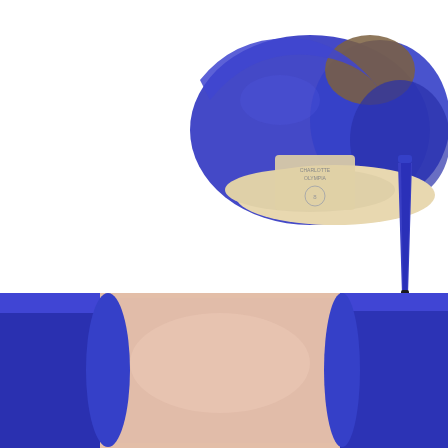[Figure (photo): Blue suede high-heel stiletto shoe viewed from the back/side, showing the heel and beige sole with a size stamp, against a white background — cropped at the top of the page]
And the good news is you can get your hands (and feet) on them now at Saks Fifth Avenue by following the link on the right.
[Figure (photo): Close-up of the interior of a blue suede high-heel shoe, showing the pink/nude leather insole and the deep blue suede rim, cropped at the bottom of the page]